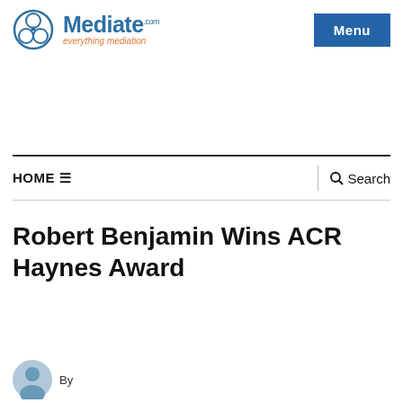[Figure (logo): Mediate.com logo with icon and tagline 'everything mediation']
[Figure (other): Blue Menu button in top right corner]
HOME ☰   Search
Robert Benjamin Wins ACR Haynes Award
[Figure (other): Author avatar icon, partial view at bottom, with 'By' text]